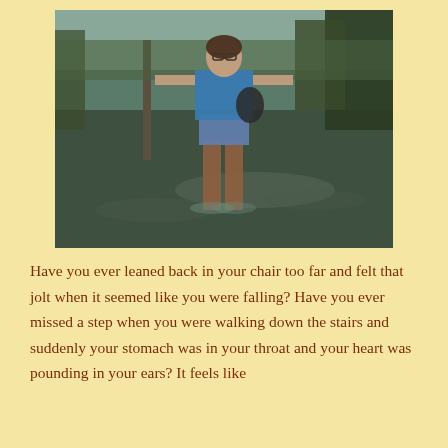[Figure (photo): A woman wearing glasses, a blue t-shirt, denim shorts, and brown knee-high boots stands in floodwater, arms slightly spread. She carries a bag over one shoulder. Trees and a water body are visible in the background.]
Have you ever leaned back in your chair too far and felt that jolt when it seemed like you were falling? Have you ever missed a step when you were walking down the stairs and suddenly your stomach was in your throat and your heart was pounding in your ears? It feels like